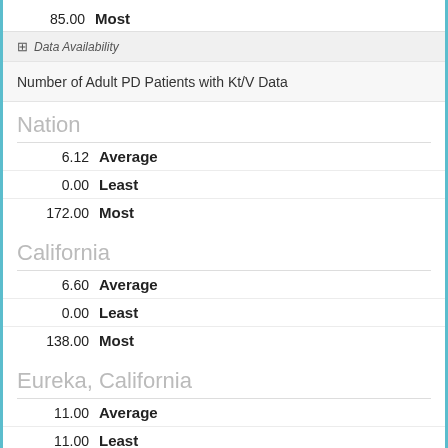85.00  Most
⊞ Data Availability
Number of Adult PD Patients with Kt/V Data
Nation
6.12  Average
0.00  Least
172.00  Most
California
6.60  Average
0.00  Least
138.00  Most
Eureka, California
11.00  Average
11.00  Least